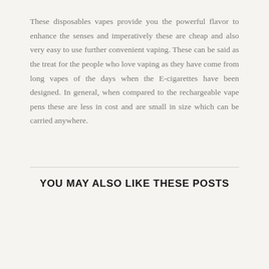These disposables vapes provide you the powerful flavor to enhance the senses and imperatively these are cheap and also very easy to use further convenient vaping. These can be said as the treat for the people who love vaping as they have come from long vapes of the days when the E-cigarettes have been designed. In general, when compared to the rechargeable vape pens these are less in cost and are small in size which can be carried anywhere.
YOU MAY ALSO LIKE THESE POSTS